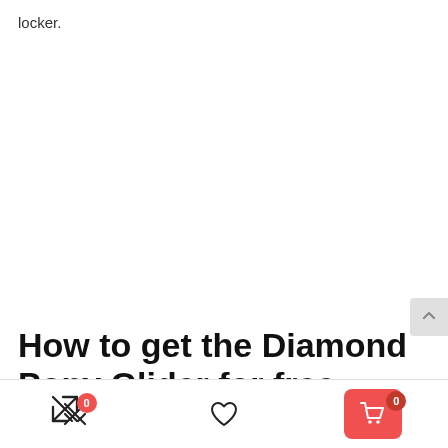locker.
How to get the Diamond Pony Glider for free
[Figure (other): Bottom navigation bar with compare icon (badge 0), heart/wishlist icon, and red cart button (badge 0)]